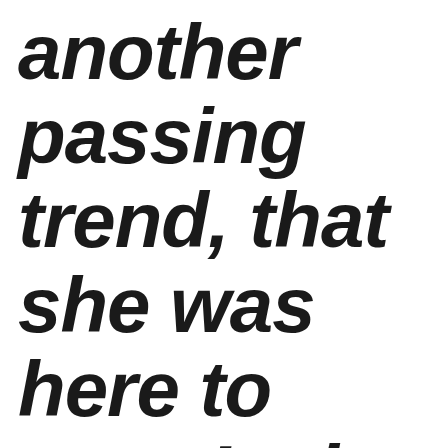another passing trend, that she was here to stay. It also